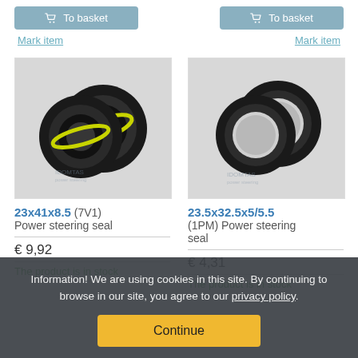[Figure (screenshot): Two 'To basket' buttons side by side at top of page]
Mark item
Mark item
[Figure (photo): Photo of 23x41x8.5 power steering seal (two black rubber seals with yellow/green ring visible, on grey background, with IDOMTAS watermark)]
[Figure (photo): Photo of 23.5x32.5x5/5.5 power steering seal (two black rubber rings on grey background, with IDOMTAS watermark)]
23x41x8.5 (7V1) Power steering seal € 9,92 The product is in stock
23.5x32.5x5/5.5 (1PM) Power steering seal € 4,31 The product is in stock
Information! We are using cookies in this site. By continuing to browse in our site, you agree to our privacy policy.